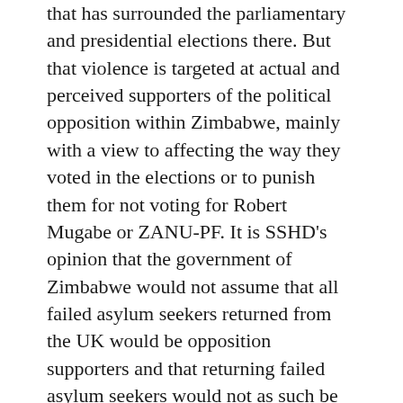that has surrounded the parliamentary and presidential elections there. But that violence is targeted at actual and perceived supporters of the political opposition within Zimbabwe, mainly with a view to affecting the way they voted in the elections or to punish them for not voting for Robert Mugabe or ZANU-PF. It is SSHD's opinion that the government of Zimbabwe would not assume that all failed asylum seekers returned from the UK would be opposition supporters and that returning failed asylum seekers would not as such be any more likely to be targeted for mistreatment than any other Zimbabwean returning to Zimbabwe. In particular in the context of the recent elections, as Zimbabwean electoral law does not provide the inclusion on the electoral roll of those who are